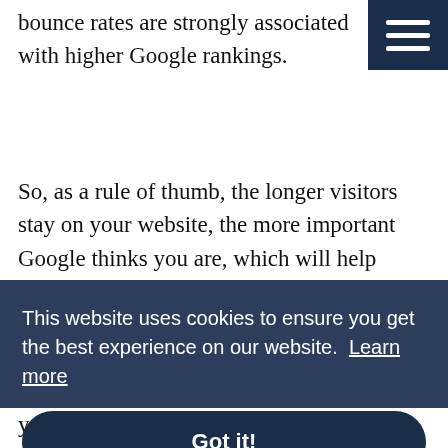bounce rates are strongly associated with higher Google rankings.
So, as a rule of thumb, the longer visitors stay on your website, the more important Google thinks you are, which will help improve the position of your website in search result listings.
[Figure (other): Navigation hamburger menu icon — three horizontal white lines on dark navy blue background, positioned top-right corner]
This website uses cookies to ensure you get the best experience on our website. Learn more
Got it!
your hero section has connected